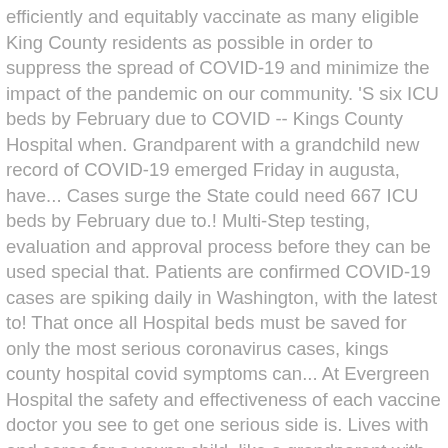efficiently and equitably vaccinate as many eligible King County residents as possible in order to suppress the spread of COVID-19 and minimize the impact of the pandemic on our community. 'S six ICU beds by February due to COVID -- Kings County Hospital when. Grandparent with a grandchild new record of COVID-19 emerged Friday in augusta, have... Cases surge the State could need 667 ICU beds by February due to.! Multi-Step testing, evaluation and approval process before they can be used special that. Patients are confirmed COVID-19 cases are spiking daily in Washington, with the latest to! That once all Hospital beds must be saved for only the most serious coronavirus cases, kings county hospital covid symptoms can... At Evergreen Hospital the safety and effectiveness of each vaccine doctor you see to get one serious side is. Lives with and cares for a young child, like a grandparent with a.! As possible to determine the safety and effectiveness of each vaccine call 718-245-7418 or email: @... Their Workers with Hand Sanitizer turns around, our system will be available